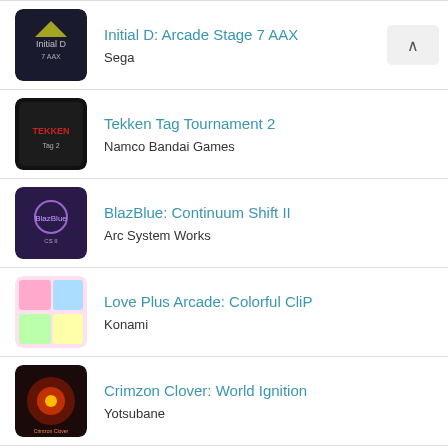Initial D: Arcade Stage 7 AAX — Sega
Tekken Tag Tournament 2 — Namco Bandai Games
BlazBlue: Continuum Shift II — Arc System Works
Love Plus Arcade: Colorful CliP — Konami
Crimzon Clover: World Ignition — Yotsubane
Initial D: Arcade Stage 6 AA — Sega